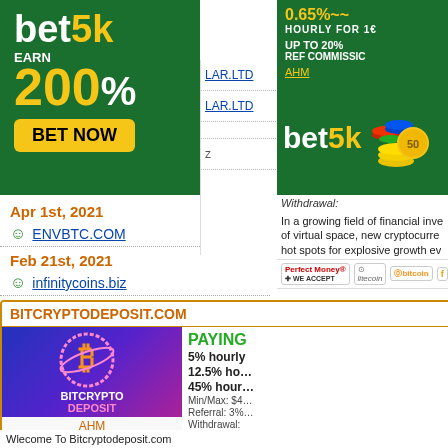[Figure (advertisement): bet5k ad: green background, 'bet5k EARN 200% BET NOW' button in yellow]
[Figure (advertisement): Partial ad: 0.65%~~ HOURLY FOR 1... UP TO 20% REF COMMISSIC... AHM link]
[Figure (advertisement): bet5k logo with colorful coin stack, number 50]
Withdrawal:
In a growing field of financial inve... of virtual space, new cryptocurre... hot spots for explosive growth ev...
[Figure (screenshot): Payment icons: Perfect Money, litecoin, bitcoin]
Apr 1st, 2021
ENVBTC.COM
Feb 21st, 2021
infinitycoins.biz
Feb 15th, 2021
infinitycoins.biz
Feb 14th, 2021
BITHIT.LTD
Feb 8th, 2021
infinitycoins.biz
Feb 3rd, 2021
infinitycoins.biz
BITCRYPTODEPOSIT.COM
PAYING
5% hourly
12.5% ho...
45% hour...
Min/Max: $4...
Referral: 3%...
Withdrawal:
[Figure (logo): BITCRYPTO DEPOSIT logo with Bitcoin B symbol on purple/blue gradient background]
AHM
Wlecome To Bitcryptodeposit.com providing worldwide Crypto Curre...